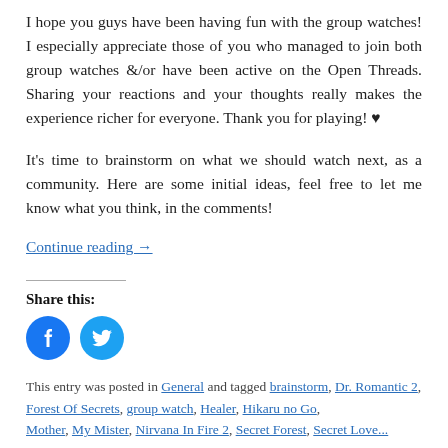I hope you guys have been having fun with the group watches! I especially appreciate those of you who managed to join both group watches &/or have been active on the Open Threads. Sharing your reactions and your thoughts really makes the experience richer for everyone. Thank you for playing! ♥
It's time to brainstorm on what we should watch next, as a community. Here are some initial ideas, feel free to let me know what you think, in the comments!
Continue reading →
Share this:
[Figure (logo): Facebook share icon button (blue circle with white F logo) and Twitter share icon button (blue circle with white bird logo)]
This entry was posted in General and tagged brainstorm, Dr. Romantic 2, Forest Of Secrets, group watch, Healer, Hikaru no Go, Mother, My Mister, Nirvana In Fire 2, Secret Forest, Secret Love...